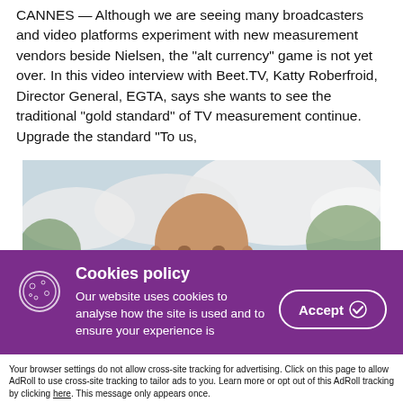CANNES — Although we are seeing many broadcasters and video platforms experiment with new measurement vendors beside Nielsen, the “alt currency” game is not yet over. In this video interview with Beet.TV, Katty Roberfroid, Director General, EGTA, says she wants to see the traditional “gold standard” of TV measurement continue. Upgrade the standard “To us,
[Figure (photo): Outdoor photo of a bald man smiling, with white umbrellas and trees in the background, taken at what appears to be Cannes.]
Cookies policy
Our website uses cookies to analyse how the site is used and to ensure your experience is
Accept and Close ×
Your browser settings do not allow cross-site tracking for advertising. Click on this page to allow AdRoll to use cross-site tracking to tailor ads to you. Learn more or opt out of this AdRoll tracking by clicking here. This message only appears once.